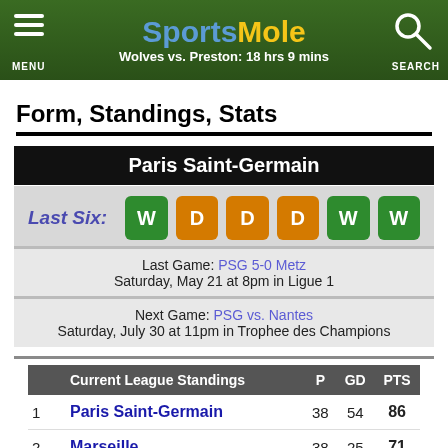SportsMole — Wolves vs. Preston: 18 hrs 9 mins
Form, Standings, Stats
Paris Saint-Germain
Last Six: W D D D W W
Last Game: PSG 5-0 Metz
Saturday, May 21 at 8pm in Ligue 1
Next Game: PSG vs. Nantes
Saturday, July 30 at 11pm in Trophee des Champions
|  | Current League Standings | P | GD | PTS |
| --- | --- | --- | --- | --- |
| 1 | Paris Saint-Germain | 38 | 54 | 86 |
| 2 | Marseille | 38 | 25 | 71 |